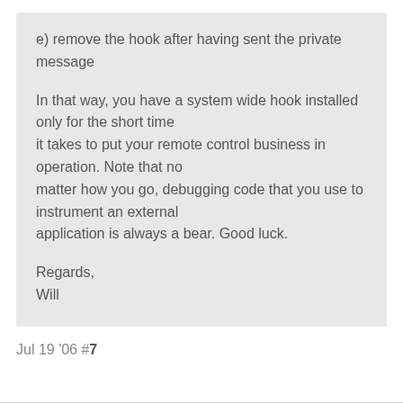e) remove the hook after having sent the private message
In that way, you have a system wide hook installed only for the short time it takes to put your remote control business in operation. Note that no matter how you go, debugging code that you use to instrument an external application is always a bear. Good luck.
Regards,
Will
Jul 19 '06 #7